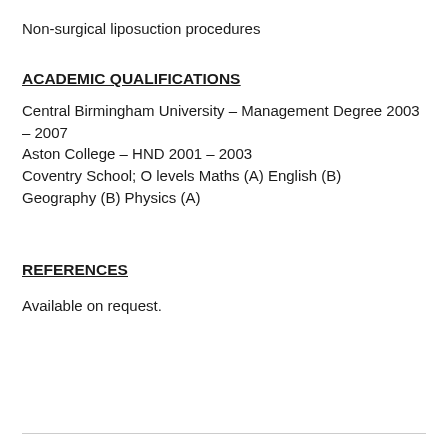Non-surgical liposuction procedures
ACADEMIC QUALIFICATIONS
Central Birmingham University – Management Degree 2003 – 2007
Aston College – HND 2001 – 2003
Coventry School; O levels Maths (A) English (B) Geography (B) Physics (A)
REFERENCES
Available on request.